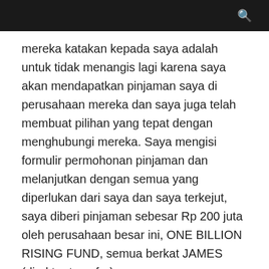🔍
mereka katakan kepada saya adalah untuk tidak menangis lagi karena saya akan mendapatkan pinjaman saya di perusahaan mereka dan saya juga telah membuat pilihan yang tepat dengan menghubungi mereka. Saya mengisi formulir permohonan pinjaman dan melanjutkan dengan semua yang diperlukan dari saya dan saya terkejut, saya diberi pinjaman sebesar Rp 200 juta oleh perusahaan besar ini, ONE BILLION RISING FUND, semua berkat JAMES (direktur transfer),